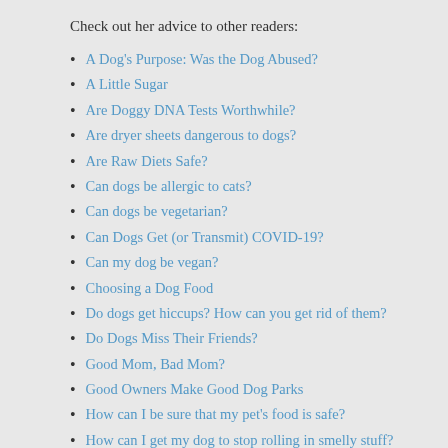Check out her advice to other readers:
A Dog's Purpose: Was the Dog Abused?
A Little Sugar
Are Doggy DNA Tests Worthwhile?
Are dryer sheets dangerous to dogs?
Are Raw Diets Safe?
Can dogs be allergic to cats?
Can dogs be vegetarian?
Can Dogs Get (or Transmit) COVID-19?
Can my dog be vegan?
Choosing a Dog Food
Do dogs get hiccups? How can you get rid of them?
Do Dogs Miss Their Friends?
Good Mom, Bad Mom?
Good Owners Make Good Dog Parks
How can I be sure that my pet's food is safe?
How can I get my dog to stop rolling in smelly stuff?